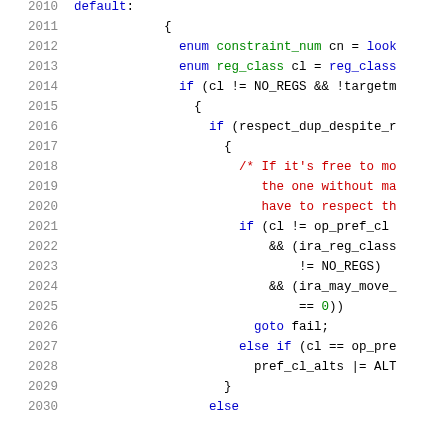Source code listing, lines 2010-2030, showing C code with switch default case, constraint checking, register class logic, and goto/else branches.